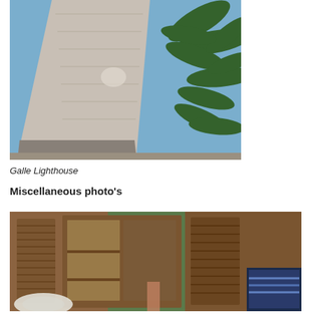[Figure (photo): Close-up upward view of the Galle Lighthouse tower, a tall cylindrical concrete/stone structure, with palm tree fronds visible against a blue sky in the background.]
Galle Lighthouse
Miscellaneous photo's
[Figure (photo): Interior room photo showing wooden cabinetry with louvered doors and glass-fronted display cabinets. A white fan is visible in the lower left, and a television screen is partially visible in the lower right corner.]